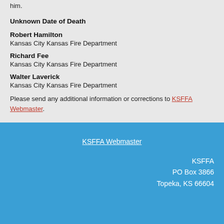him.
Unknown Date of Death
Robert Hamilton
Kansas City Kansas Fire Department
Richard Fee
Kansas City Kansas Fire Department
Walter Laverick
Kansas City Kansas Fire Department
Please send any additional information or corrections to KSFFA Webmaster.
KSFFA Webmaster
KSFFA
PO Box 3866
Topeka, KS 66604